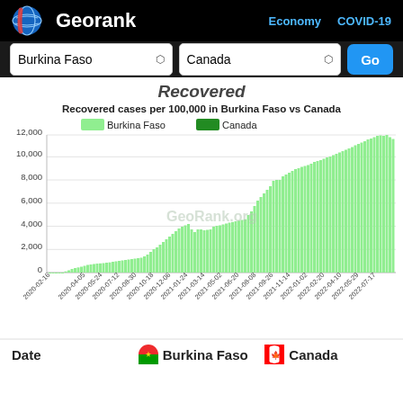Georank — Economy COVID-19
Burkina Faso | Canada | Go
Recovered
[Figure (bar-chart): Recovered cases per 100,000 in Burkina Faso vs Canada]
Date  Burkina Faso  Canada